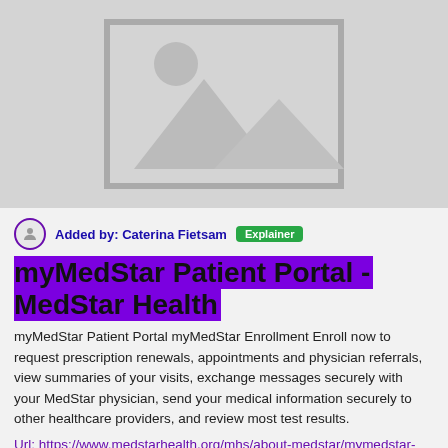[Figure (illustration): Gray image placeholder with mountain and sun silhouette icon in the center]
Added by: Caterina Fietsam  Explainer
myMedStar Patient Portal - MedStar Health
myMedStar Patient Portal myMedStar Enrollment Enroll now to request prescription renewals, appointments and physician referrals, view summaries of your visits, exchange messages securely with your MedStar physician, send your medical information securely to other healthcare providers, and review most test results.
Url: https://www.medstarhealth.org/mhs/about-medstar/mymedstar-patient-portal/